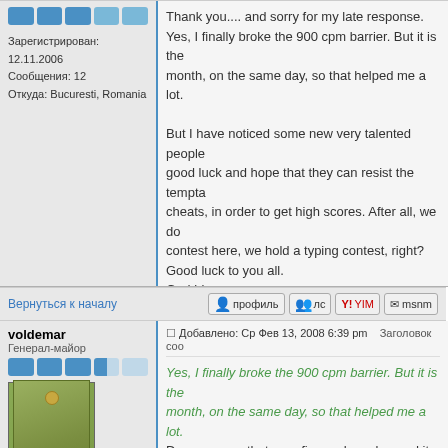Зарегистрирован: 12.11.2006
Сообщения: 12
Откуда: Bucuresti, Romania
Thank you.... and sorry for my late response.
Yes, I finally broke the 900 cpm barrier. But it is the month, on the same day, so that helped me a lot.

But I have noticed some new very talented people good luck and hope that they can resist the tempta cheats, in order to get high scores. After all, we do contest here, we hold a typing contest, right?
Good luck to you all.
God bless.

Son
Вернуться к началу
voldemar
Генерал-майор
Добавлено: Ср Фев 13, 2008 6:39 pm   Заголовок соо
Yes, I finally broke the 900 cpm barrier. But it is the month, on the same day, so that helped me a lot.
Do you mean that your fingers have learned it by h

Is Daily Tasks an English analog for Ежедневочка
Зарегистрирован: 11.09.2007
Сообщения: 3738